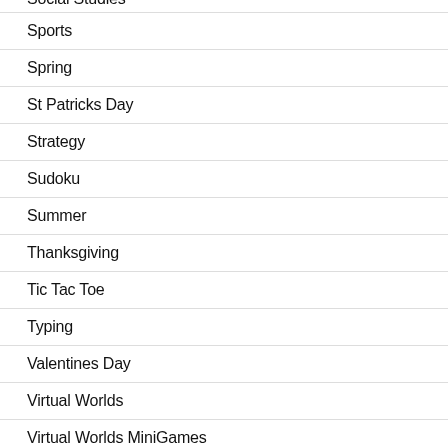Social Studies
Sports
Spring
St Patricks Day
Strategy
Sudoku
Summer
Thanksgiving
Tic Tac Toe
Typing
Valentines Day
Virtual Worlds
Virtual Worlds MiniGames